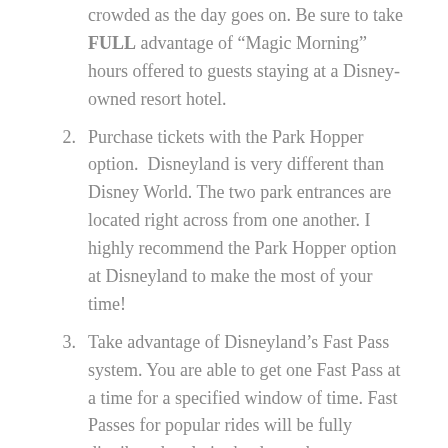crowded as the day goes on. Be sure to take FULL advantage of “Magic Morning” hours offered to guests staying at a Disney-owned resort hotel.
2. Purchase tickets with the Park Hopper option. Disneyland is very different than Disney World. The two park entrances are located right across from one another. I highly recommend the Park Hopper option at Disneyland to make the most of your time!
3. Take advantage of Disneyland’s Fast Pass system. You are able to get one Fast Pass at a time for a specified window of time. Fast Passes for popular rides will be fully distributed early in the day so be sure to